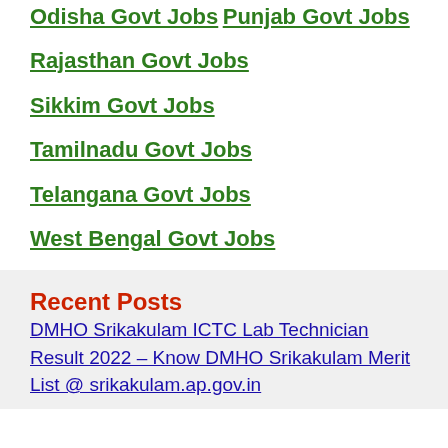Odisha Govt Jobs
Punjab Govt Jobs
Rajasthan Govt Jobs
Sikkim Govt Jobs
Tamilnadu Govt Jobs
Telangana Govt Jobs
West Bengal Govt Jobs
Recent Posts
DMHO Srikakulam ICTC Lab Technician Result 2022 – Know DMHO Srikakulam Merit List @ srikakulam.ap.gov.in